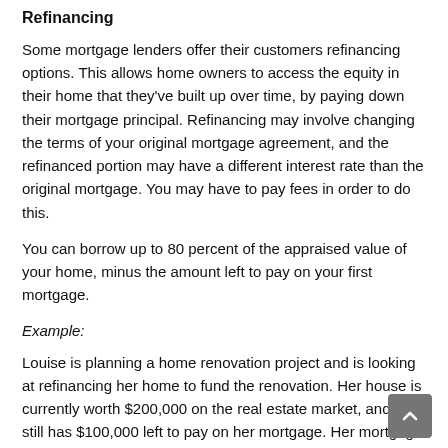Refinancing
Some mortgage lenders offer their customers refinancing options. This allows home owners to access the equity in their home that they've built up over time, by paying down their mortgage principal. Refinancing may involve changing the terms of your original mortgage agreement, and the refinanced portion may have a different interest rate than the original mortgage. You may have to pay fees in order to do this.
You can borrow up to 80 percent of the appraised value of your home, minus the amount left to pay on your first mortgage.
Example:
Louise is planning a home renovation project and is looking at refinancing her home to fund the renovation. Her house is currently worth $200,000 on the real estate market, and she still has $100,000 left to pay on her mortgage. Her mortgage lender calculates her credit limit for refinancing as follows:
$200,000 appraised value of the home x 80% maximum loan allowed = $160,000 loan amount based on appraised value - $100,000 less balance owed on current mortgage = $60,000